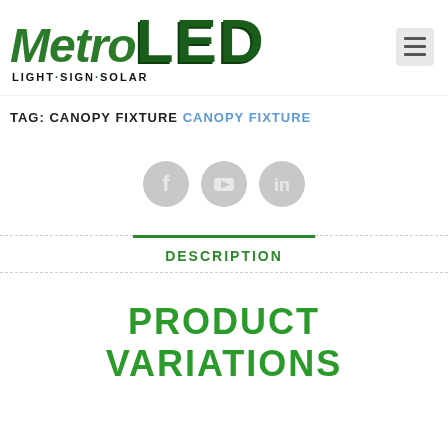[Figure (logo): MetroLED Light·Sign·Solar logo in green and dark green]
TAG: CANOPY FIXTURE CANOPY FIXTURE
[Figure (infographic): Three social media icons: Facebook, YouTube, LinkedIn in light gray circles]
DESCRIPTION
PRODUCT VARIATIONS